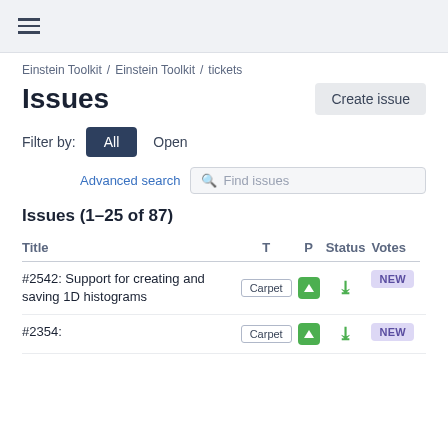≡
Einstein Toolkit / Einstein Toolkit / tickets
Issues
Filter by: All  Open
Advanced search  Find issues
Issues (1–25 of 87)
| Title | T | P | Status | Votes |
| --- | --- | --- | --- | --- |
| #2542: Support for creating and saving 1D histograms | Carpet | ↑ | ↓ | NEW |  |
| #2354: | Carpet | ↑ | ↓ | NEW |  |